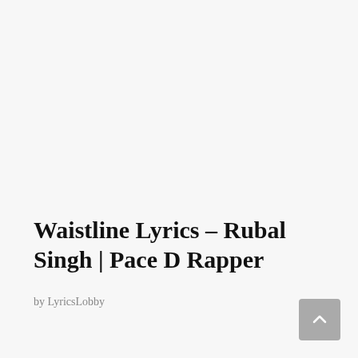Waistline Lyrics – Rubal Singh | Pace D Rapper
by LyricsLobby